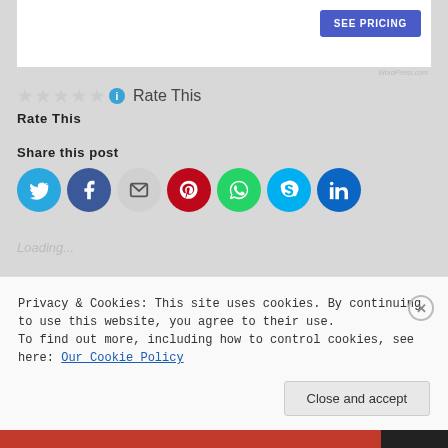[Figure (other): SEE PRICING button in a white card area]
Rate This
Rate This
Share this post
[Figure (other): Social sharing icons: Twitter, Facebook, Email, Pinterest, WhatsApp, Skype, LinkedIn]
Loading...
Privacy & Cookies: This site uses cookies. By continuing to use this website, you agree to their use.
To find out more, including how to control cookies, see here: Our Cookie Policy
Close and accept